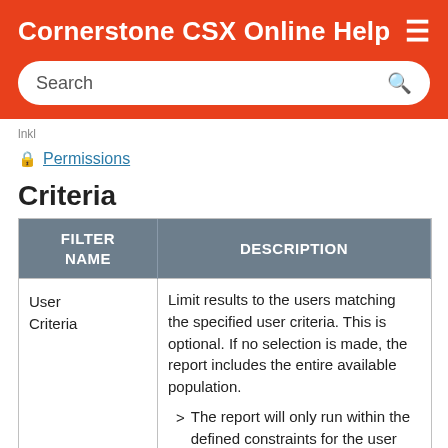Cornerstone CSX Online Help
Search
lnkl
Permissions
Criteria
| FILTER NAME | DESCRIPTION |
| --- | --- |
| User Criteria | Limit results to the users matching the specified user criteria. This is optional. If no selection is made, the report includes the entire available population.
> The report will only run within the defined constraints for the user running the report. |
| T... |  |